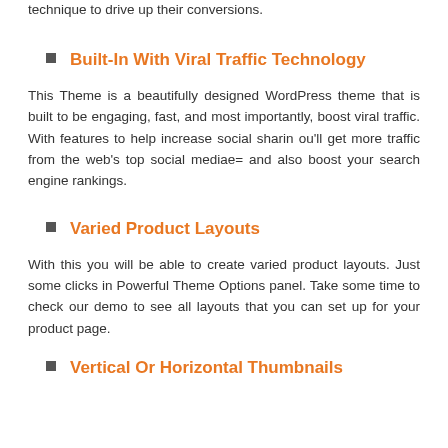technique to drive up their conversions.
Built-In With Viral Traffic Technology
This Theme is a beautifully designed WordPress theme that is built to be engaging, fast, and most importantly, boost viral traffic. With features to help increase social sharin ou'll get more traffic from the web's top social mediae= and also boost your search engine rankings.
Varied Product Layouts
With this you will be able to create varied product layouts. Just some clicks in Powerful Theme Options panel. Take some time to check our demo to see all layouts that you can set up for your product page.
Vertical Or Horizontal Thumbnails